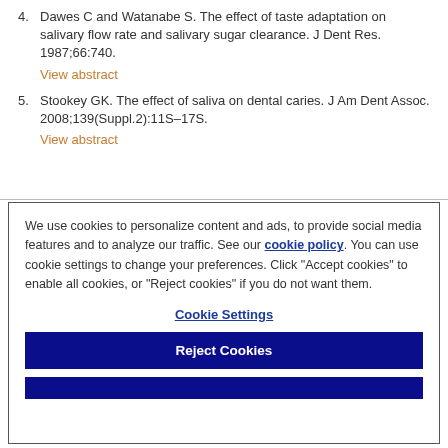4. Dawes C and Watanabe S. The effect of taste adaptation on salivary flow rate and salivary sugar clearance. J Dent Res. 1987;66:740.
View abstract
5. Stookey GK. The effect of saliva on dental caries. J Am Dent Assoc. 2008;139(Suppl.2):11S–17S.
View abstract
We use cookies to personalize content and ads, to provide social media features and to analyze our traffic. See our cookie policy. You can use cookie settings to change your preferences. Click "Accept cookies" to enable all cookies, or "Reject cookies" if you do not want them.
Cookie Settings
Reject Cookies